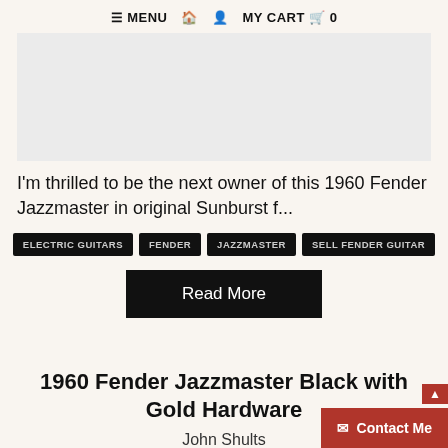≡ MENU 🏠 👤 MY CART 🛒 0
[Figure (photo): Light grey placeholder image for a guitar product listing]
I'm thrilled to be the next owner of this 1960 Fender Jazzmaster in original Sunburst f...
ELECTRIC GUITARS
FENDER
JAZZMASTER
SELL FENDER GUITAR
Read More
1960 Fender Jazzmaster Black with Gold Hardware
John Shults